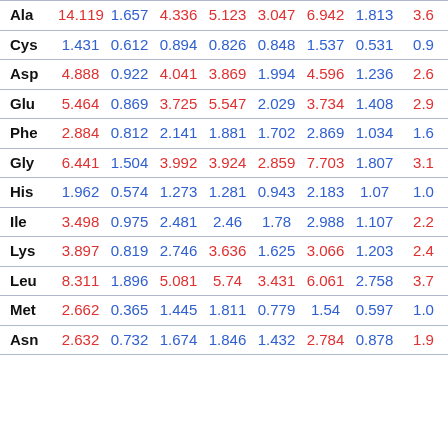| AA | col1 | col2 | col3 | col4 | col5 | col6 | col7 | col8 |
| --- | --- | --- | --- | --- | --- | --- | --- | --- |
| Ala | 14.119 | 1.657 | 4.336 | 5.123 | 3.047 | 6.942 | 1.813 | 3.6… |
| Cys | 1.431 | 0.612 | 0.894 | 0.826 | 0.848 | 1.537 | 0.531 | 0.9… |
| Asp | 4.888 | 0.922 | 4.041 | 3.869 | 1.994 | 4.596 | 1.236 | 2.6… |
| Glu | 5.464 | 0.869 | 3.725 | 5.547 | 2.029 | 3.734 | 1.408 | 2.9… |
| Phe | 2.884 | 0.812 | 2.141 | 1.881 | 1.702 | 2.869 | 1.034 | 1.6… |
| Gly | 6.441 | 1.504 | 3.992 | 3.924 | 2.859 | 7.703 | 1.807 | 3.1… |
| His | 1.962 | 0.574 | 1.273 | 1.281 | 0.943 | 2.183 | 1.07 | 1.0… |
| Ile | 3.498 | 0.975 | 2.481 | 2.46 | 1.78 | 2.988 | 1.107 | 2.2… |
| Lys | 3.897 | 0.819 | 2.746 | 3.636 | 1.625 | 3.066 | 1.203 | 2.4… |
| Leu | 8.311 | 1.896 | 5.081 | 5.74 | 3.431 | 6.061 | 2.758 | 3.7… |
| Met | 2.662 | 0.365 | 1.445 | 1.811 | 0.779 | 1.54 | 0.597 | 1.0… |
| Asn | 2.632 | 0.732 | 1.674 | 1.846 | 1.432 | 2.784 | 0.878 | 1.9… |